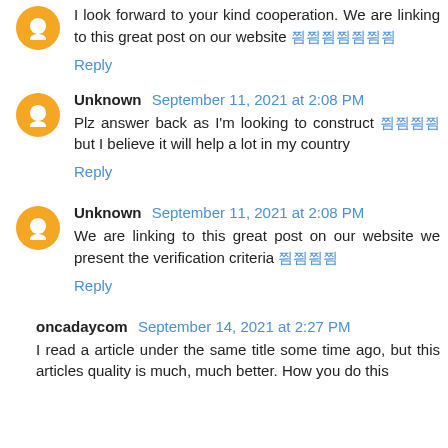I look forward to your kind cooperation. We are linking to this great post on our website 찀찀찀찀찀찀찀
Reply
Unknown September 11, 2021 at 2:08 PM
Plz answer back as I'm looking to construct 찀찀찀찀 but I believe it will help a lot in my country
Reply
Unknown September 11, 2021 at 2:08 PM
We are linking to this great post on our website we present the verification criteria 찀찀찀찀
Reply
oncadaycom September 14, 2021 at 2:27 PM
I read a article under the same title some time ago, but this articles quality is much, much better. How you do this